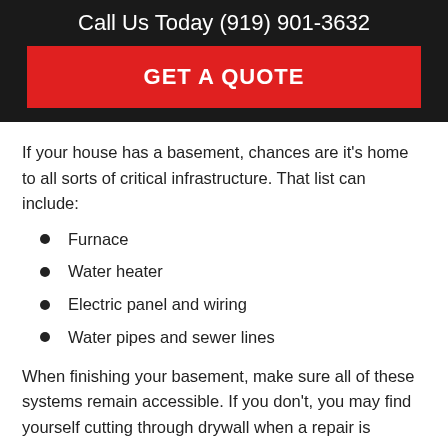Call Us Today (919) 901-3632
GET A QUOTE
If your house has a basement, chances are it's home to all sorts of critical infrastructure. That list can include:
Furnace
Water heater
Electric panel and wiring
Water pipes and sewer lines
When finishing your basement, make sure all of these systems remain accessible. If you don't, you may find yourself cutting through drywall when a repair is